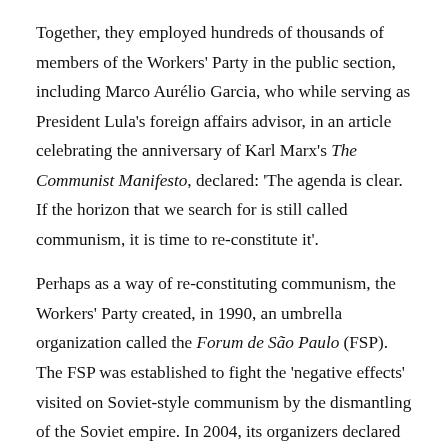Together, they employed hundreds of thousands of members of the Workers' Party in the public section, including Marco Aurélio Garcia, who while serving as President Lula's foreign affairs advisor, in an article celebrating the anniversary of Karl Marx's The Communist Manifesto, declared: 'The agenda is clear. If the horizon that we search for is still called communism, it is time to re-constitute it'.

Perhaps as a way of re-constituting communism, the Workers' Party created, in 1990, an umbrella organization called the Forum de São Paulo (FSP). The FSP was established to fight the 'negative effects' visited on Soviet-style communism by the dismantling of the Soviet empire. In 2004, its organizers declared that the